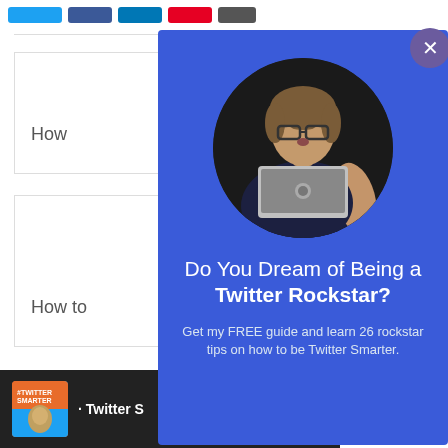[Figure (screenshot): Web page background showing share buttons (Twitter, Facebook, LinkedIn, Pinterest, More) and two card items with partial text 'How' visible, plus a bottom footer bar with podcast image and Twitter text.]
[Figure (photo): Modal popup with blue background. Contains a circular portrait photo of a woman with glasses holding an Apple laptop, a close (X) button in the top-right corner, headline text 'Do You Dream of Being a Twitter Rockstar?', and body text 'Get my FREE guide and learn 26 rockstar tips on how to be Twitter Smarter.']